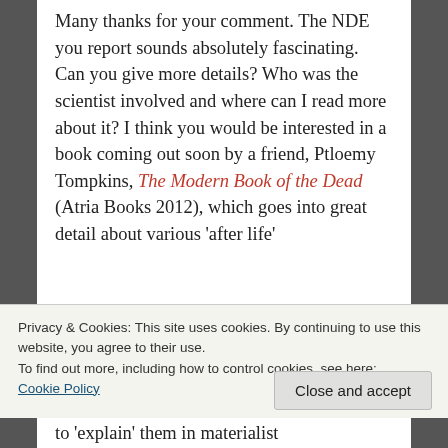Many thanks for your comment. The NDE you report sounds absolutely fascinating. Can you give more details? Who was the scientist involved and where can I read more about it? I think you would be interested in a book coming out soon by a friend, Ptloemy Tompkins, The Modern Book of the Dead (Atria Books 2012), which goes into great detail about various 'after life'
Privacy & Cookies: This site uses cookies. By continuing to use this website, you agree to their use.
To find out more, including how to control cookies, see here:
Cookie Policy
Close and accept
to 'explain' them in materialist